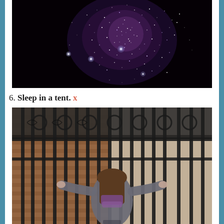[Figure (photo): Night sky photo showing a dense cluster of stars or fireworks with bright purple/white sparkles against a black background, with a few bright points of light visible]
6. Sleep in a tent. x
[Figure (photo): Person with long brown and purple-tipped hair, wearing a gray hoodie, standing with arms outstretched holding onto ornate black iron gate bars in front of a brick building]